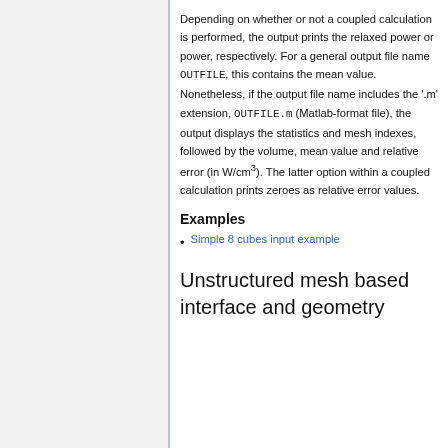Depending on whether or not a coupled calculation is performed, the output prints the relaxed power or power, respectively. For a general output file name OUTFILE, this contains the mean value. Nonetheless, if the output file name includes the '.m' extension, OUTFILE.m (Matlab-format file), the output displays the statistics and mesh indexes, followed by the volume, mean value and relative error (in W/cm³). The latter option within a coupled calculation prints zeroes as relative error values.
Examples
Simple 8 cubes input example
Unstructured mesh based interface and geometry